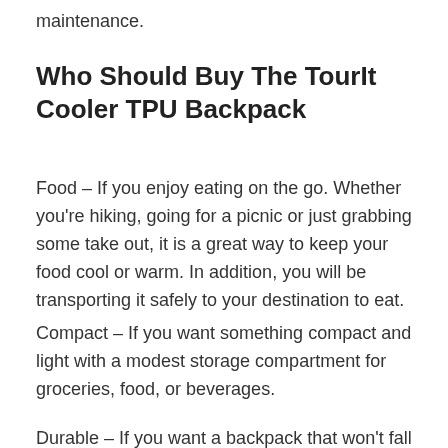maintenance.
Who Should Buy The TourIt Cooler TPU Backpack
Food – If you enjoy eating on the go. Whether you're hiking, going for a picnic or just grabbing some take out, it is a great way to keep your food cool or warm. In addition, you will be transporting it safely to your destination to eat.
Compact – If you want something compact and light with a modest storage compartment for groceries, food, or beverages.
Durable – If you want a backpack that won't fall